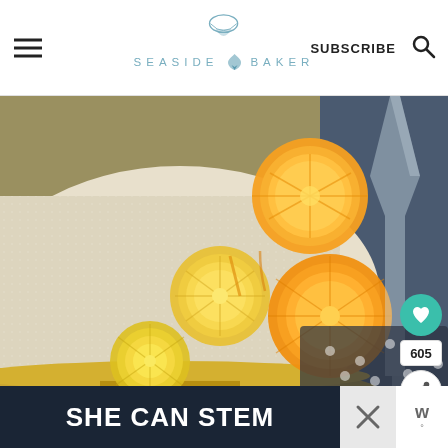The Seaside Baker — SUBSCRIBE
[Figure (photo): Close-up photo of a frosted cake decorated with candied citrus slices (lemons and oranges) on a gold cake stand, with a champagne flute in the background]
[Figure (infographic): Advertisement banner reading 'SHE CAN STEM' in white bold text on dark navy background]